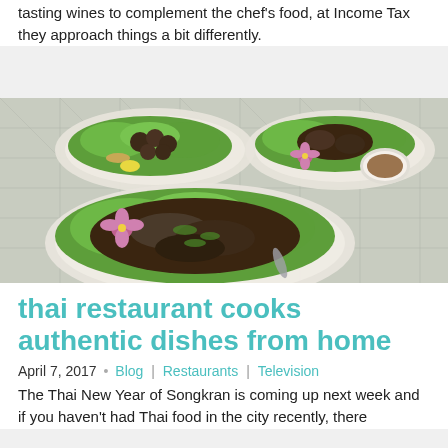tasting wines to complement the chef's food, at Income Tax they approach things a bit differently.
[Figure (photo): Three plates of Thai food with green lettuce, purple orchid garnishes, and a dipping sauce, arranged on a table with a decorative tablecloth.]
thai restaurant cooks authentic dishes from home
April 7, 2017 • Blog | Restaurants | Television
The Thai New Year of Songkran is coming up next week and if you haven't had Thai food in the city recently, there